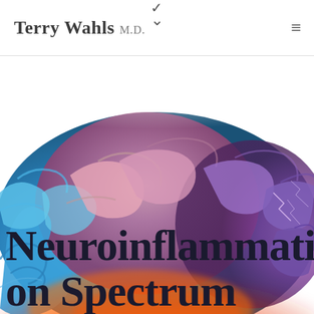Terry Wahls M.D.
[Figure (illustration): 3D rendered colorful human brain illustration with blue, pink, orange, and purple hues, shown from above and side, fading into white background at top, with vivid glowing colors at the bottom.]
Neuroinflamation spectrum